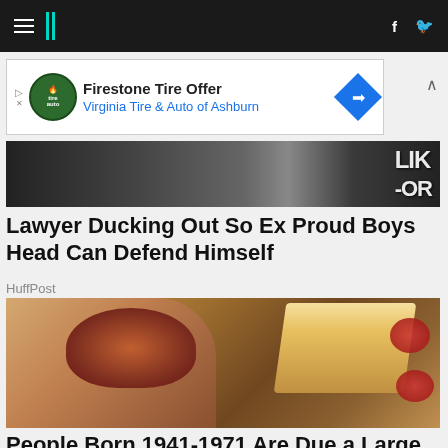HuffPost navigation bar with hamburger menu, logo, facebook and twitter icons
[Figure (other): Advertisement banner: Firestone Tire Offer - Virginia Tire & Auto of Ashburn]
[Figure (photo): Partial image of people at event, text visible: LIK -OR]
Lawyer Ducking Out So Ex Proud Boys Head Can Defend Himself
HuffPost
[Figure (photo): Photo of a hand holding a large burger with fries and dipping sauces on a tray]
People Born 1941-1971 Are Due a Large